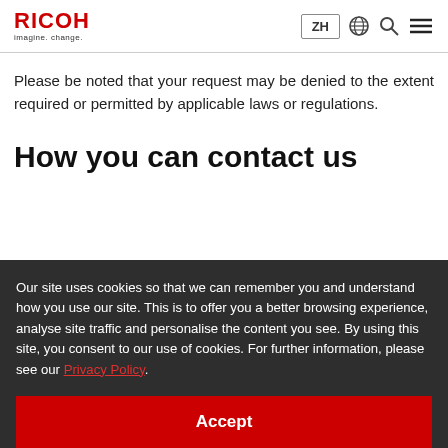RICOH imagine. change. | ZH | [globe icon] [search icon] [menu icon]
Please be noted that your request may be denied to the extent required or permitted by applicable laws or regulations.
How you can contact us
Our site uses cookies so that we can remember you and understand how you use our site. This is to offer you a better browsing experience, analyse site traffic and personalise the content you see. By using this site, you consent to our use of cookies. For further information, please see our Privacy Policy.
Accept